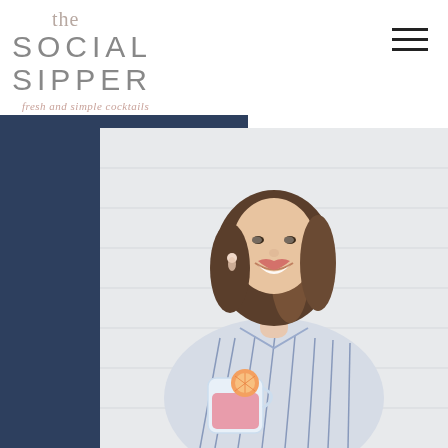[Figure (logo): The Social Sipper logo with script 'the' above sans-serif 'SOCIAL SIPPER' text, tagline 'fresh and simple cocktails' below in italic pink]
[Figure (other): Hamburger menu icon with three horizontal lines]
[Figure (photo): Navy blue rectangular background block with a photo of a smiling woman with shoulder-length wavy hair, wearing a striped wrap blouse, holding a pink/orange cocktail drink with a citrus garnish. Background is a light gray/white siding wall.]